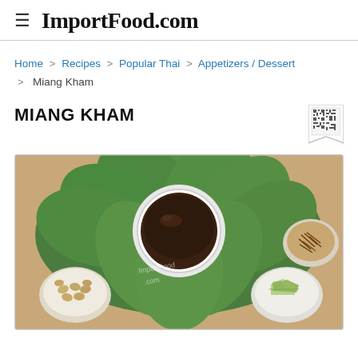ImportFood.com
Home > Recipes > Popular Thai > Appetizers / Dessert > Miang Kham
MIANG KHAM
[Figure (photo): Miang Kham dish: large green betel leaves arranged in a circle with a bowl of dark sauce in the center, surrounded by small bowls of peanuts, shredded dried ingredients, and chopped vegetables on a wooden surface. Watermark reads importfood.com.]